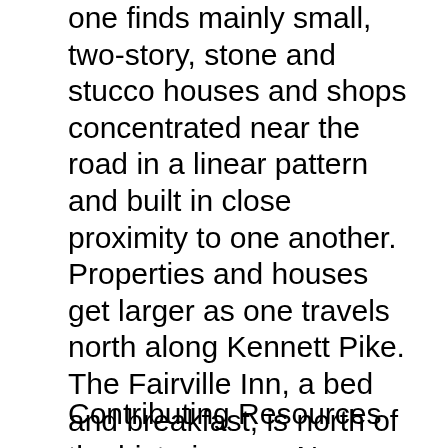one finds mainly small, two-story, stone and stucco houses and shops concentrated near the road in a linear pattern and built in close proximity to one another. Properties and houses get larger as one travels north along Kennett Pike. The Fairville Inn, a bed and breakfast, is north of the historic core. Near the southwest corner of Kennett Pike and Fairville Road is the former Brandywine Presbyterian Church and the Phillip du Pont estate, now owned by his heirs. The district has 45 resources; there are 44 buildings and 1 structure. There are 37 contributing buildings, 7 noncontributing buildings, and one noncontributing structure. Eighteen resources, mainly houses and associated outbuildings, were built in the first half of the 19th century. These resources are the most visible buildings in the district, forming the basis for Fairville's historic village makeup.
Contributing Resources